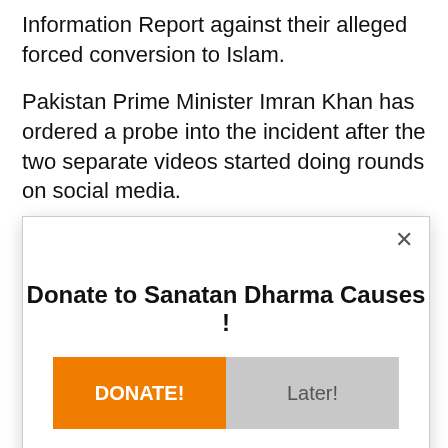Information Report against their alleged forced conversion to Islam.
Pakistan Prime Minister Imran Khan has ordered a probe into the incident after the two separate videos started doing rounds on social media.
Citing police, Dawn reported that several raids were
[Figure (screenshot): Modal popup dialog with title 'Donate to Sanatan Dharma Causes !', an orange 'DONATE!' button on the left and a gray 'Later!' button on the right, a close (×) button in the top right corner, and an AddThis badge in the bottom right.]